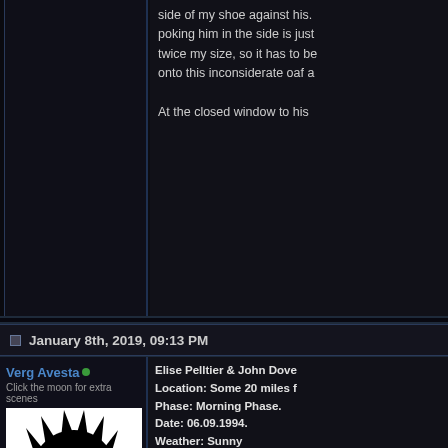side of my shoe against his. poking him in the side is just twice my size, so it has to be onto this inconsiderate oaf a
At the closed window to his
January 8th, 2019, 09:13 PM
Verg Avesta
Click the moon for extra scenes
[Figure (illustration): Black and white illustration of a dark silhouette character with spiky hair and visible white eyes, a cartoon/anime style avatar]
Join Date: Mar 2011
Location: I'll go to sleep soon.
Elise Pelltier & John Dove
Location: Some 20 miles f
Phase: Morning Phase.
Date: 06.09.1994.
Weather: Sunny
"Oh, think nothing of it! I just thinking it might work as a g journey... and turns out I was "Just goes to show that you if you just bring food, mm-m
During the time Elise and Jo had become abundantly clea amount of energy that she w with. The older girl had been journey, talking this and that order to keep things interest